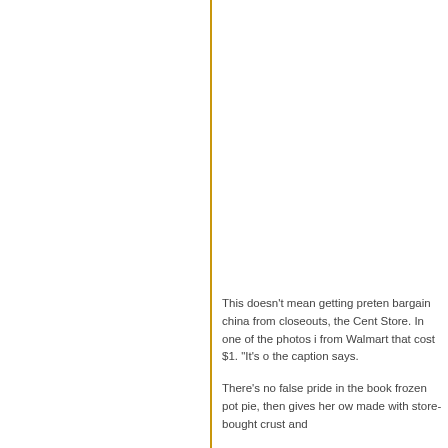This doesn't mean getting preten bargain china from closeouts, the Cent Store. In one of the photos i from Walmart that cost $1. "It's o the caption says.
There's no false pride in the book frozen pot pie, then gives her ow made with store-bought crust and